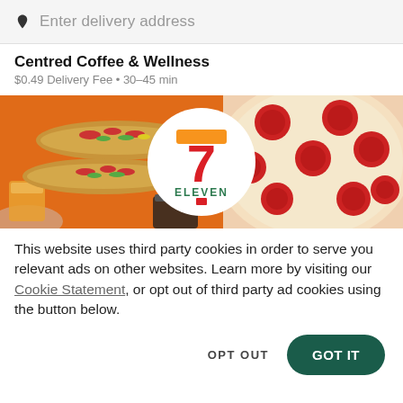Enter delivery address
Centred Coffee & Wellness
$0.49 Delivery Fee • 30–45 min
[Figure (photo): 7-Eleven banner image with hotdogs on the left, pizza on the right, and a circular 7-Eleven logo in the center on an orange background.]
This website uses third party cookies in order to serve you relevant ads on other websites. Learn more by visiting our Cookie Statement, or opt out of third party ad cookies using the button below.
OPT OUT
GOT IT